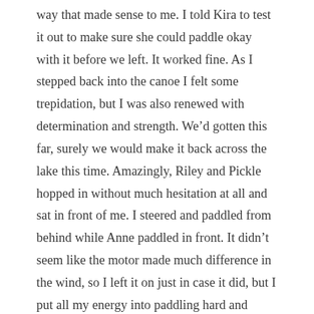way that made sense to me. I told Kira to test it out to make sure she could paddle okay with it before we left. It worked fine. As I stepped back into the canoe I felt some trepidation, but I was also renewed with determination and strength. We'd gotten this far, surely we would make it back across the lake this time. Amazingly, Riley and Pickle hopped in without much hesitation at all and sat in front of me. I steered and paddled from behind while Anne paddled in front. It didn't seem like the motor made much difference in the wind, so I left it on just in case it did, but I put all my energy into paddling hard and steering with my strokes.
It seemed as if my muscles had super powers. I paddled hard and long with each stroke, feeling fully alive and purposeful. My confidence rose quickly and I began